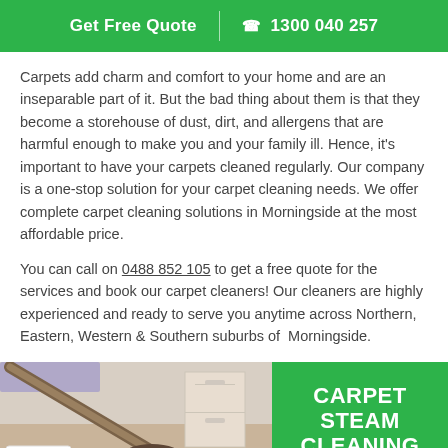Get Free Quote  |  ☎ 1300 040 257
Carpets add charm and comfort to your home and are an inseparable part of it. But the bad thing about them is that they become a storehouse of dust, dirt, and allergens that are harmful enough to make you and your family ill. Hence, it's important to have your carpets cleaned regularly. Our company is a one-stop solution for your carpet cleaning needs. We offer complete carpet cleaning solutions in Morningside at the most affordable price.
You can call on 0488 852 105 to get a free quote for the services and book our carpet cleaners! Our cleaners are highly experienced and ready to serve you anytime across Northern, Eastern, Western & Southern suburbs of Morningside.
[Figure (photo): Photo of a carpet cleaning vacuum hose on a floor next to a dresser, with a company logo badge in the corner. Beside the photo is a green panel with the text CARPET STEAM CLEANING.]
CARPET STEAM CLEANING